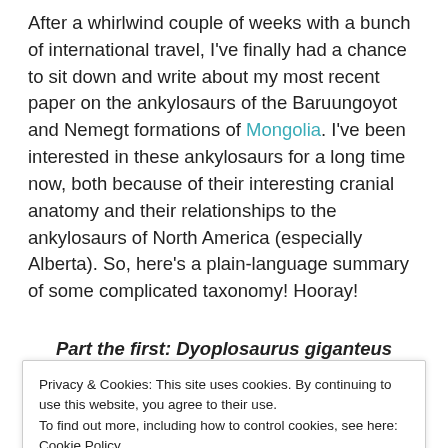After a whirlwind couple of weeks with a bunch of international travel, I've finally had a chance to sit down and write about my most recent paper on the ankylosaurs of the Baruungoyot and Nemegt formations of Mongolia. I've been interested in these ankylosaurs for a long time now, both because of their interesting cranial anatomy and their relationships to the ankylosaurs of North America (especially Alberta). So, here's a plain-language summary of some complicated taxonomy! Hooray!
Part the first: Dyoplosaurus giganteus
Privacy & Cookies: This site uses cookies. By continuing to use this website, you agree to their use.
To find out more, including how to control cookies, see here: Cookie Policy
[Figure (photo): Partial photo visible at the bottom of the page]